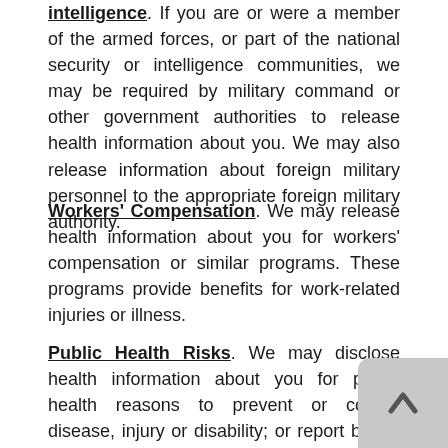intelligence. If you are or were a member of the armed forces, or part of the national security or intelligence communities, we may be required by military command or other government authorities to release health information about you. We may also release information about foreign military personnel to the appropriate foreign military authority.
Workers' Compensation. We may release health information about you for workers' compensation or similar programs. These programs provide benefits for work-related injuries or illness.
Public Health Risks. We may disclose health information about you for public health reasons to prevent or control disease, injury or disability; or report births, deaths, suspected abuse or neglect, non-accidental physical injuries, reactions to